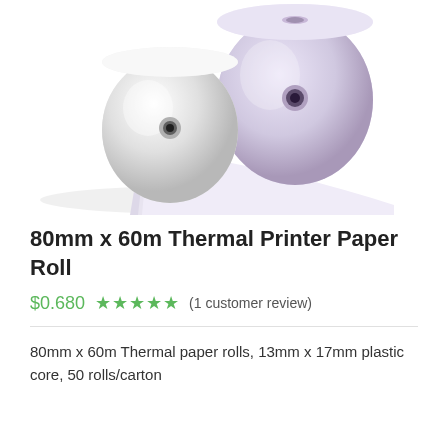[Figure (photo): Two thermal paper rolls, one white and one lavender/pink, with one partially unrolled showing the paper coming off the front roll. The rolls have a small circular core hole.]
80mm x 60m Thermal Printer Paper Roll
$0.680  ★★★★★ (1 customer review)
80mm x 60m Thermal paper rolls, 13mm x 17mm plastic core, 50 rolls/carton